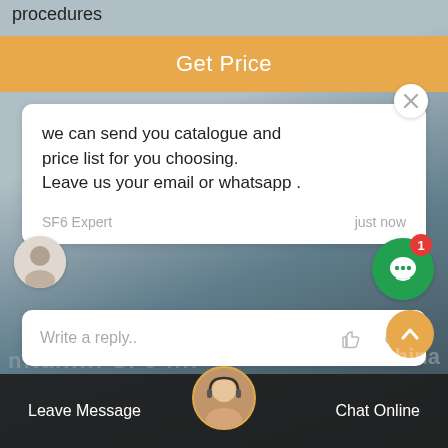procedures
Get Price
we can send you catalogue and price list for you choosing.
Leave us your email or whatsapp .
SF6 Expert   just now
Write a reply..
Leave Message
Chat Online